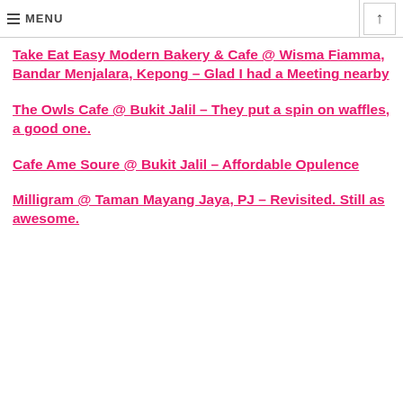MENU
Take Eat Easy Modern Bakery & Cafe @ Wisma Fiamma, Bandar Menjalara, Kepong – Glad I had a Meeting nearby
The Owls Cafe @ Bukit Jalil – They put a spin on waffles, a good one.
Cafe Ame Soure @ Bukit Jalil – Affordable Opulence
Milligram @ Taman Mayang Jaya, PJ – Revisited. Still as awesome.